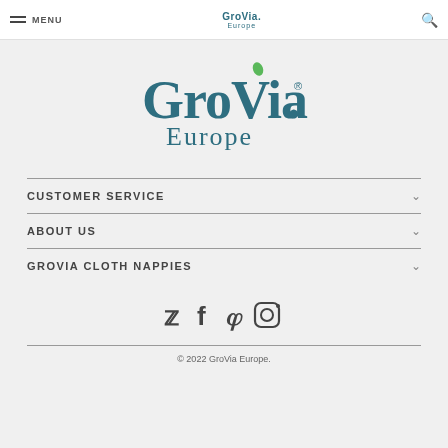MENU  GroVia. Europe  [search]
[Figure (logo): GroVia Europe logo — large teal lettering 'GroVia.' with green leaf accent on the i, and 'Europe' below in teal]
CUSTOMER SERVICE
ABOUT US
GROVIA CLOTH NAPPIES
[Figure (other): Social media icons: Twitter bird, Facebook f, Vimeo V, Instagram camera]
© 2022 GroVia Europe.